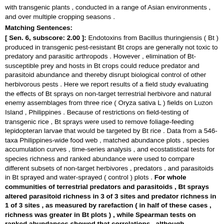with transgenic plants , conducted in a range of Asian environments , and over multiple cropping seasons .
Matching Sentences:
[ Sen. 6, subscore: 2.00 ]: Endotoxins from Bacillus thuringiensis ( Bt ) produced in transgenic pest-resistant Bt crops are generally not toxic to predatory and parasitic arthropods . However , elimination of Bt-susceptible prey and hosts in Bt crops could reduce predator and parasitoid abundance and thereby disrupt biological control of other herbivorous pests . Here we report results of a field study evaluating the effects of Bt sprays on non-target terrestrial herbivore and natural enemy assemblages from three rice ( Oryza sativa L ) fields on Luzon Island , Philippines . Because of restrictions on field-testing of transgenic rice , Bt sprays were used to remove foliage-feeding lepidopteran larvae that would be targeted by Bt rice . Data from a 546-taxa Philippines-wide food web , matched abundance plots , species accumulation curves , time-series analysis , and ecostatistical tests for species richness and ranked abundance were used to compare different subsets of non-target herbivores , predators , and parasitoids in Bt sprayed and water-sprayed ( control ) plots . For whole communities of terrestrial predators and parasitoids , Bt sprays altered parasitoid richness in 3 of 3 sites and predator richness in 1 of 3 sites , as measured by rarefaction ( in half of these cases , richness was greater in Bt plots ) , while Spearman tests on ranked abundances showed that correlations , although significantly positive between all treatment pairs , were stronger for predators than for parasitoids , suggesting that parasitoid complexes may have been more sensitive than predators to the effects of Bt sprays . Species accumulation curves and time-series analyses of population trends revealed no evidence that Bt sprays altered the overall buildup of predator or parasitoid communities or population trajectories of non-target herbivores ( planthoppers and